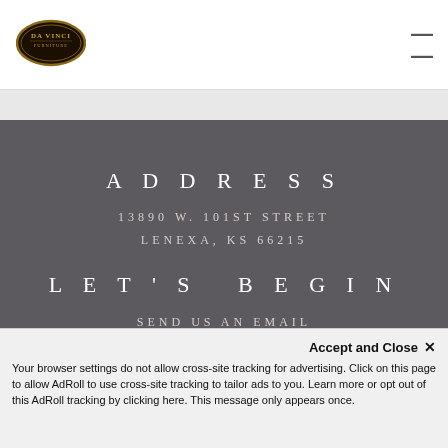[Figure (logo): DaVinci logo, oval-shaped dark emblem with text]
ADDRESS
13890 W. 101ST STREET
LENEXA, KS 66215
LET'S BEGIN
SEND US AN EMAIL
CALL 800-328-4624
SITE
Accept and Close ✕
Your browser settings do not allow cross-site tracking for advertising. Click on this page to allow AdRoll to use cross-site tracking to tailor ads to you. Learn more or opt out of this AdRoll tracking by clicking here. This message only appears once.